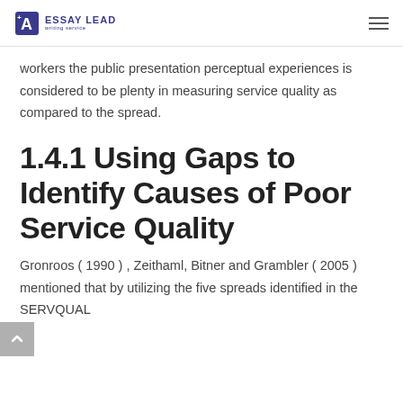ESSAY LEAD writing service
workers the public presentation perceptual experiences is considered to be plenty in measuring service quality as compared to the spread.
1.4.1 Using Gaps to Identify Causes of Poor Service Quality
Gronroos ( 1990 ) , Zeithaml, Bitner and Grambler ( 2005 ) mentioned that by utilizing the five spreads identified in the SERVQUAL